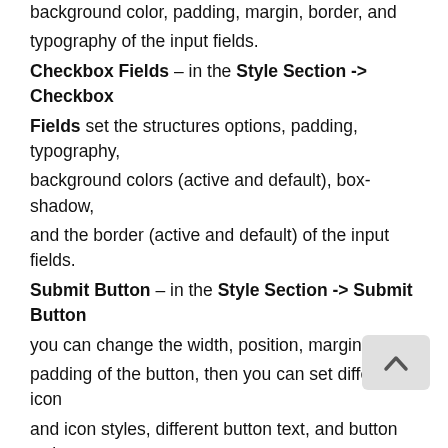background color, padding, margin, border, and typography of the input fields. Checkbox Fields – in the Style Section -> Checkbox Fields set the structures options, padding, typography, background colors (active and default), box-shadow, and the border (active and default) of the input fields. Submit Button – in the Style Section -> Submit Button you can change the width, position, margin, and, padding of the button, then you can set different icon and icon styles, different button text, and button styles – background color, border, box-shadow, and typography (hover and default). Have Account – in the Style Section -> Have Account you can change the background color, padding, margin, and position. Change the text and the text typography or use different link text.
Password Reset